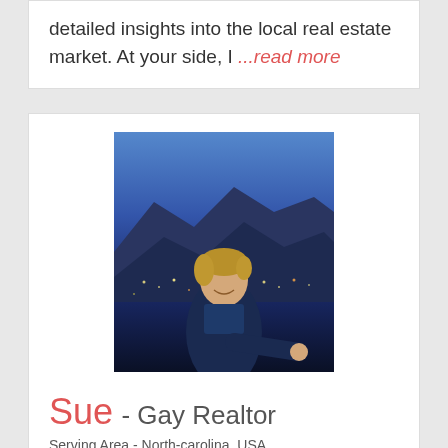detailed insights into the local real estate market. At your side, I ...read more
[Figure (photo): Profile photo of Sue, a Gay Realtor, posing and pointing at the camera with a nighttime mountain city skyline in the background]
Sue - Gay Realtor
Serving Area - North-carolina, USA
★★★★★
Contact | View Profile